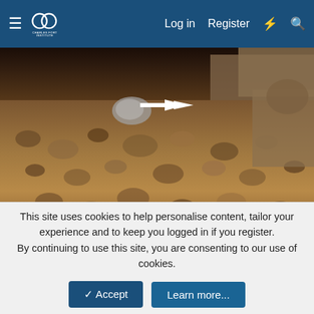Charles Fort Institute — Log in | Register
[Figure (photo): Close-up photograph of rocky ground with pebbles and stones under a dark overhang, with a white right-pointing arrow indicating something partially visible in shadow]
[Figure (photo): Black and white aerial or landscape photograph with a white downward-pointing arrow indicating an object in the sky, with snowy or bright terrain visible on the right]
This site uses cookies to help personalise content, tailor your experience and to keep you logged in if you register.
By continuing to use this site, you are consenting to our use of cookies.
✓ Accept   Learn more...